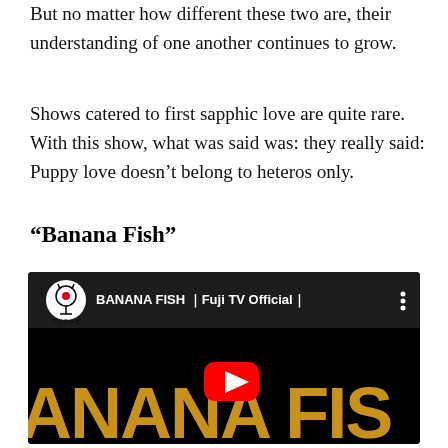But no matter how different these two are, their understanding of one another continues to grow.
Shows catered to first sapphic love are quite rare. With this show, what was said was: they really said: Puppy love doesn't belong to heteros only.
“Banana Fish”
[Figure (screenshot): YouTube video thumbnail for BANANA FISH - Fuji TV Official, showing the title text 'BANANA FISH' in large gold letters on a black background, with YouTube play button overlay and channel icon.]